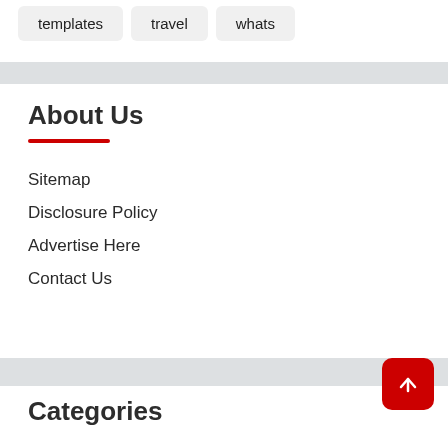templates
travel
whats
About Us
Sitemap
Disclosure Policy
Advertise Here
Contact Us
Categories